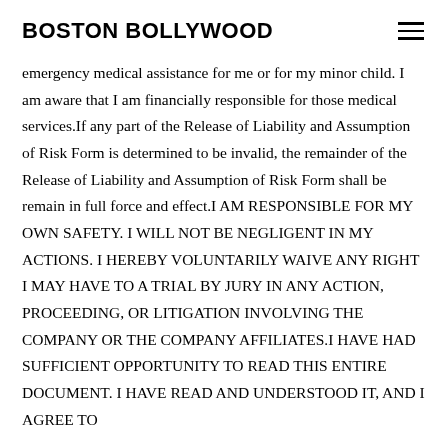BOSTON BOLLYWOOD
emergency medical assistance for me or for my minor child. I am aware that I am financially responsible for those medical services.If any part of the Release of Liability and Assumption of Risk Form is determined to be invalid, the remainder of the Release of Liability and Assumption of Risk Form shall be remain in full force and effect.I AM RESPONSIBLE FOR MY OWN SAFETY. I WILL NOT BE NEGLIGENT IN MY ACTIONS. I HEREBY VOLUNTARILY WAIVE ANY RIGHT I MAY HAVE TO A TRIAL BY JURY IN ANY ACTION, PROCEEDING, OR LITIGATION INVOLVING THE COMPANY OR THE COMPANY AFFILIATES.I HAVE HAD SUFFICIENT OPPORTUNITY TO READ THIS ENTIRE DOCUMENT. I HAVE READ AND UNDERSTOOD IT, AND I AGREE TO